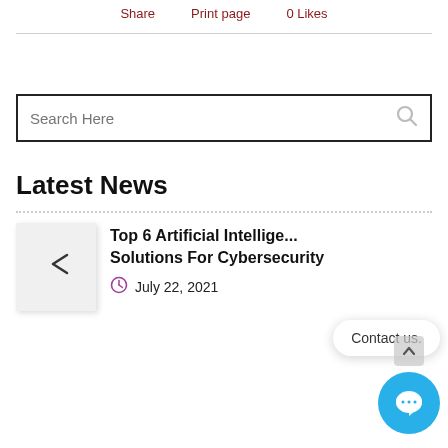Share   Print page   0 Likes
Search Here
Latest News
Top 6 Artificial Intelligence Solutions For Cybersecurity
July 22, 2021
Contact us.